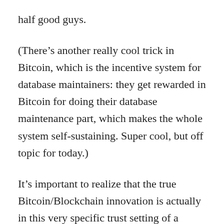half good guys.
(There’s another really cool trick in Bitcoin, which is the incentive system for database maintainers: they get rewarded in Bitcoin for doing their database maintenance part, which makes the whole system self-sustaining. Super cool, but off topic for today.)
It’s important to realize that the true Bitcoin/Blockchain innovation is actually in this very specific trust setting of a dynamically changing set of database maintainers. If your use case doesn’t call for that, if you can designate the maintainers at the start of your protocol and have them authenticate to each other, then you don’t need the full Blockchain toolkit. You need only fairly standard